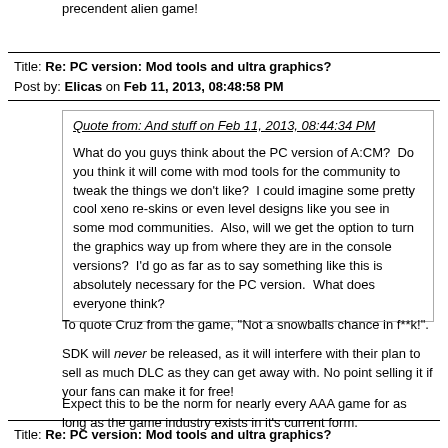precendent alien game!
Title: Re: PC version: Mod tools and ultra graphics?
Post by: Elicas on Feb 11, 2013, 08:48:58 PM
Quote from: And stuff on Feb 11, 2013, 08:44:34 PM

What do you guys think about the PC version of A:CM?  Do you think it will come with mod tools for the community to tweak the things we don't like?  I could imagine some pretty cool xeno re-skins or even level designs like you see in some mod communities.  Also, will we get the option to turn the graphics way up from where they are in the console versions?  I'd go as far as to say something like this is absolutely necessary for the PC version.  What does everyone think?
To quote Cruz from the game, "Not a snowballs chance in f**k!".
SDK will never be released, as it will interfere with their plan to sell as much DLC as they can get away with. No point selling it if your fans can make it for free!
Expect this to be the norm for nearly every AAA game for as long as the game industry exists in it's current form.
Title: Re: PC version: Mod tools and ultra graphics?